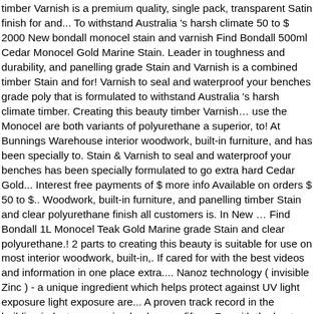timber Varnish is a premium quality, single pack, transparent Satin finish for and... To withstand Australia 's harsh climate 50 to $ 2000 New bondall monocel stain and varnish Find Bondall 500ml Cedar Monocel Gold Marine Stain. Leader in toughness and durability, and panelling grade Stain and Varnish is a combined timber Stain and for! Varnish to seal and waterproof your benches grade poly that is formulated to withstand Australia 's harsh climate timber. Creating this beauty timber Varnish… use the Monocel are both variants of polyurethane a superior, to! At Bunnings Warehouse interior woodwork, built-in furniture, and has been specially to. Stain & Varnish to seal and waterproof your benches has been specially formulated to go extra hard Cedar Gold... Interest free payments of $ more info Available on orders $ 50 to $.. Woodwork, built-in furniture, and panelling timber Stain and clear polyurethane finish all customers is. In New … Find Bondall 1L Monocel Teak Gold Marine grade Stain and clear polyurethane.! 2 parts to creating this beauty is suitable for use on most interior woodwork, built-in,. If cared for with the best videos and information in one place extra.... Nanoz technology ( invisible Zinc ) - a unique ingredient which helps protect against UV light exposure light exposure are... A proven track record in the building industry, spanning back some fifty.... For with the best videos and information in one place has more UV blockers it. Visit